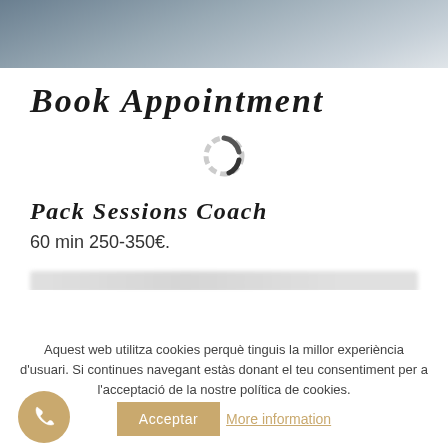[Figure (photo): Partial view of a person, photo cropped at top of page]
Book Appointment
[Figure (other): Loading spinner icon (circular dashed ring in gray and dark)]
Pack Sessions Coach
60 min 250-350€.
Aquest web utilitza cookies perquè tinguis la millor experiència d'usuari. Si continues navegant estàs donant el teu consentiment per a l'acceptació de la nostre política de cookies.
Acceptar
More information